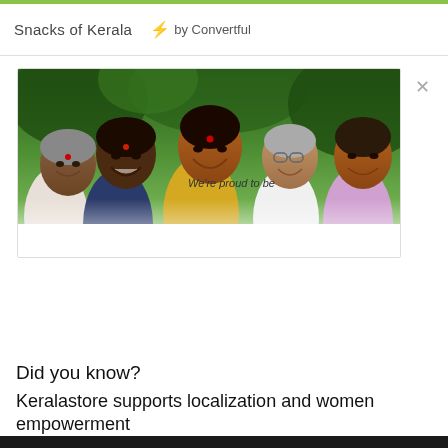Snacks of Kerala  ⚡ by Convertful
[Figure (photo): Advertisement popup showing five smiling Indian women outdoors with lush green background. Below the photo: TheKeralaStore logo and 'We're proud to be VOCAL For LOCAL — 17 Local Brands and Growing' banner.]
Did you know?
Keralastore supports localization and women empowerment